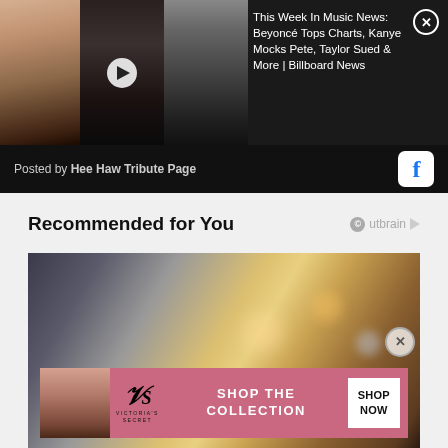[Figure (screenshot): Facebook video card showing Taylor Swift, Beyoncé, and Kanye West photos with Billboard News headline]
Posted by Hee Haw Tribute Page
Recommended for You
[Figure (photo): Photo of a person in a retail store aisle with shelves of products]
[Figure (screenshot): Victoria's Secret advertisement banner: SHOP THE COLLECTION / SHOP NOW]